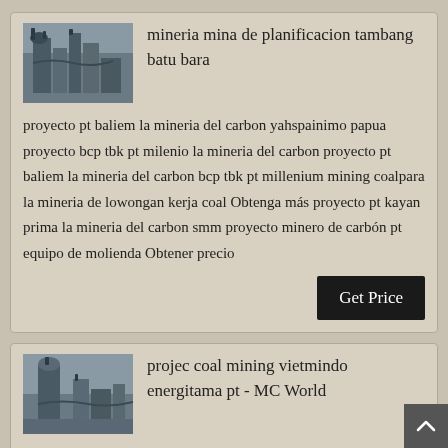[Figure (photo): Industrial mining equipment with pipes and machinery, grayscale-blue toned photo]
mineria mina de planificacion tambang batu bara
proyecto pt baliem la mineria del carbon yahspainimo papua proyecto bcp tbk pt milenio la mineria del carbon proyecto pt baliem la mineria del carbon bcp tbk pt millenium mining coalpara la mineria de lowongan kerja coal Obtenga más proyecto pt kayan prima la mineria del carbon smm proyecto minero de carbón pt equipo de molienda Obtener precio
Get Price
[Figure (photo): Industrial mining or processing plant with silo/tower structures, grayscale-blue toned photo]
projec coal mining vietmindo energitama pt - MC World
Kiwila Coal Mining Projec More Detail Projec coal mining vietmindo energitama pt We are the world's leading supplier...